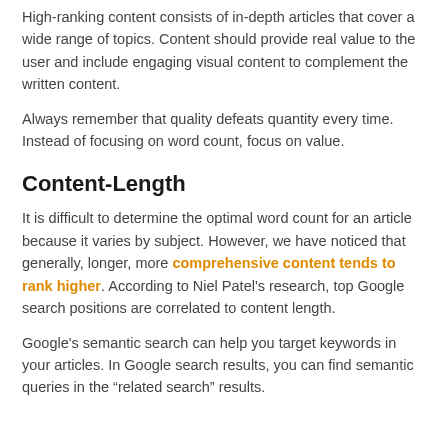High-ranking content consists of in-depth articles that cover a wide range of topics. Content should provide real value to the user and include engaging visual content to complement the written content.
Always remember that quality defeats quantity every time. Instead of focusing on word count, focus on value.
Content-Length
It is difficult to determine the optimal word count for an article because it varies by subject. However, we have noticed that generally, longer, more comprehensive content tends to rank higher. According to Niel Patel's research, top Google search positions are correlated to content length.
Google's semantic search can help you target keywords in your articles. In Google search results, you can find semantic queries in the “related search” results.